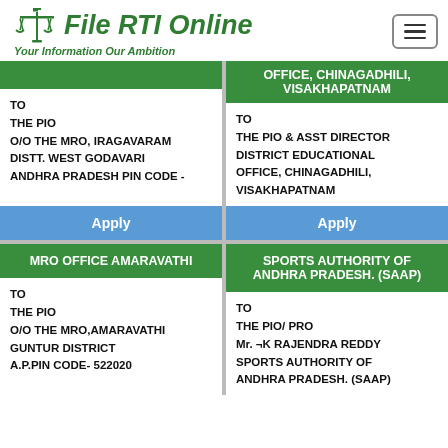File RTI Online - Your Information Our Ambition
OFFICE, CHINAGADHILI, VISAKHAPATNAM
TO
THE PIO
O/O THE MRO, IRAGAVARAM
DISTT. WEST GODAVARI
ANDHRA PRADESH PIN CODE -
TO
THE PIO & ASST DIRECTOR
DISTRICT EDUCATIONAL OFFICE, CHINAGADHILI,
VISAKHAPATNAM
MRO OFFICE AMARAVATHI
SPORTS AUTHORITY OF ANDHRA PRADESH. (SAAP)
TO
THE PIO
O/O THE MRO,AMARAVATHI
GUNTUR DISTRICT
A.P.PIN CODE- 522020
TO
THE PIO/ PRO
Mr. ¬K RAJENDRA REDDY
SPORTS AUTHORITY OF
ANDHRA PRADESH. (SAAP)